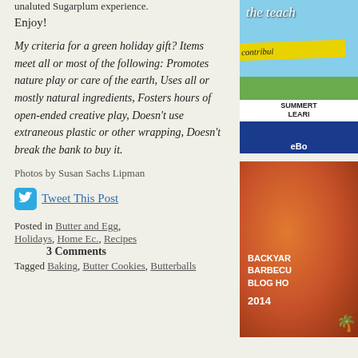unaluted Sugarplum experience.
Enjoy!
My criteria for a green holiday gift? Items meet all or most of the following: Promotes nature play or care of the earth, Uses all or mostly natural ingredients, Fosters hours of open-ended creative play, Doesn't use extraneous plastic or other wrapping, Doesn't break the bank to buy it.
Photos by Susan Sachs Lipman
Tweet This Post
Posted in Butter and Egg, Holidays, Home Ec., Recipes
Tagged Baking, Butter Cookies, Butterballs
3 Comments
[Figure (photo): Blog sidebar image with script text 'the teach', yellow banner 'contributi', and blue bar reading 'SUMMERT LEARN eBo']
[Figure (photo): Backyard Barbecue Blog Hop 2014 badge with tomato/pepper image]